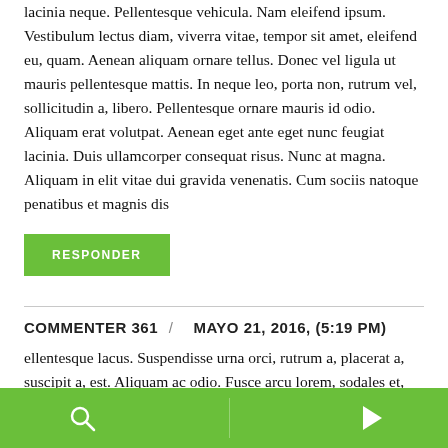lacinia neque. Pellentesque vehicula. Nam eleifend ipsum. Vestibulum lectus diam, viverra vitae, tempor sit amet, eleifend eu, quam. Aenean aliquam ornare tellus. Donec vel ligula ut mauris pellentesque mattis. In neque leo, porta non, rutrum vel, sollicitudin a, libero. Pellentesque ornare mauris id odio. Aliquam erat volutpat. Aenean eget ante eget nunc feugiat lacinia. Duis ullamcorper consequat risus. Nunc at magna. Aliquam in elit vitae dui gravida venenatis. Cum sociis natoque penatibus et magnis dis
RESPONDER
COMMENTER 361  /   MAYO 21, 2016, (5:19 PM)
ellentesque lacus. Suspendisse urna orci, rutrum a, placerat a, suscipit a, est. Aliquam ac odio. Fusce arcu lorem, sodales et, condimentum ultrices, fringilla ut, tellus. Quisque velit justo, molestie ac, imperdiet et, vulputate semper, dolor. Phasellus